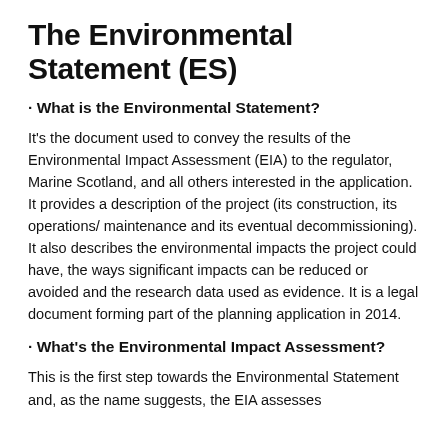The Environmental Statement (ES)
· What is the Environmental Statement?
It's the document used to convey the results of the Environmental Impact Assessment (EIA) to the regulator, Marine Scotland, and all others interested in the application. It provides a description of the project (its construction, its operations/ maintenance and its eventual decommissioning). It also describes the environmental impacts the project could have, the ways significant impacts can be reduced or avoided and the research data used as evidence. It is a legal document forming part of the planning application in 2014.
· What's the Environmental Impact Assessment?
This is the first step towards the Environmental Statement and, as the name suggests, the EIA assesses